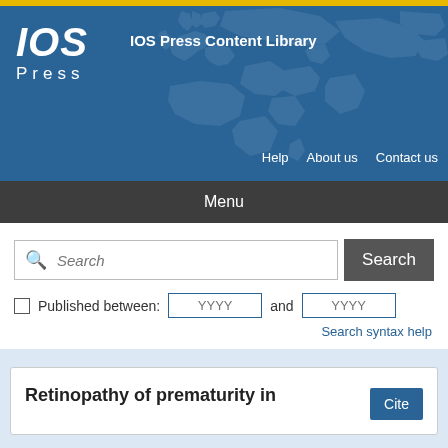[Figure (logo): IOS Press logo with world map background header]
IOS Press Content Library
Help   About us   Contact us
Menu
Search [input] Search button
Published between: YYYY and YYYY
Search syntax help
Retinopathy of prematurity in